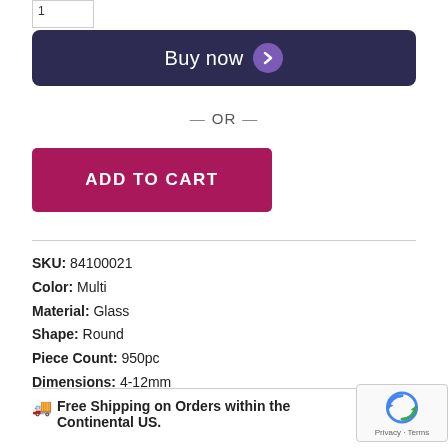[Figure (screenshot): Quantity input box in top-left corner]
Buy now ›
— OR —
ADD TO CART
SKU: 84100021
Color: Multi
Material: Glass
Shape: Round
Piece Count: 950pc
Dimensions: 4-12mm
Free Shipping on Orders within the Continental US.